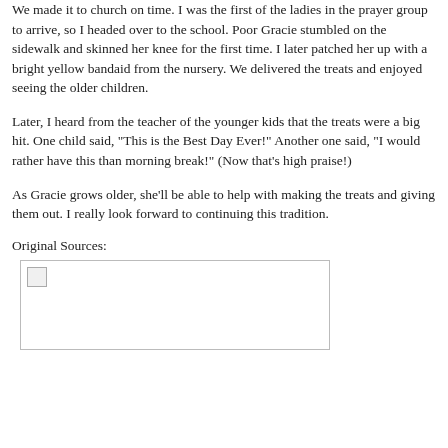We made it to church on time.  I was the first of the ladies in the prayer group to arrive, so I headed over to the school.  Poor Gracie stumbled on the sidewalk and skinned her knee for the first time.  I later patched her up with a bright yellow bandaid from the nursery.  We delivered the treats and enjoyed seeing the older children.
Later, I heard from the teacher of the younger kids that the treats were a big hit.  One child said, "This is the Best Day Ever!"  Another one said, "I would rather have this than morning break!" (Now that's high praise!)
As Gracie grows older, she'll be able to help with making the treats and giving them out.  I really look forward to continuing this tradition.
Original Sources:
[Figure (photo): A bordered image box with a broken/placeholder image icon in the top-left corner]